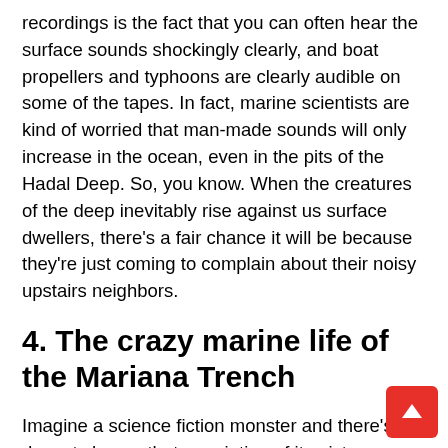recordings is the fact that you can often hear the surface sounds shockingly clearly, and boat propellers and typhoons are clearly audible on some of the tapes. In fact, marine scientists are kind of worried that man-made sounds will only increase in the ocean, even in the pits of the Hadal Deep. So, you know. When the creatures of the deep inevitably rise against us surface dwellers, there's a fair chance it will be because they're just coming to complain about their noisy upstairs neighbors.
4. The crazy marine life of the Mariana Trench
Imagine a science fiction monster and there's a decent chance that a variation of it exists somewhere in the depths of the Mariana Trench. There are relatively huge amoebas that surround and consume their prey like a gelatinous cube monster in Dungeons Dragons. There